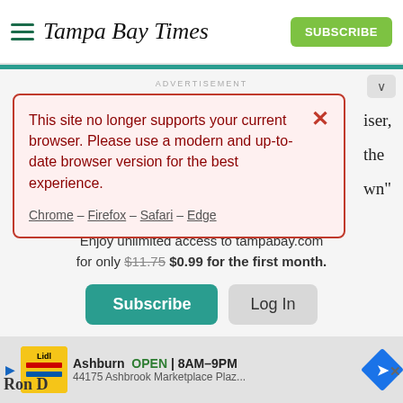Tampa Bay Times
ADVERTISEMENT
This site no longer supports your current browser. Please use a modern and up-to-date browser version for the best experience. Chrome – Firefox – Safari – Edge
Enjoy unlimited access to tampabay.com for only $11.75 $0.99 for the first month.
Subscribe  Log In
Interested in print delivery? Subscribe here →
Ashburn OPEN | 8AM–9PM  44175 Ashbrook Marketplace Plaz...